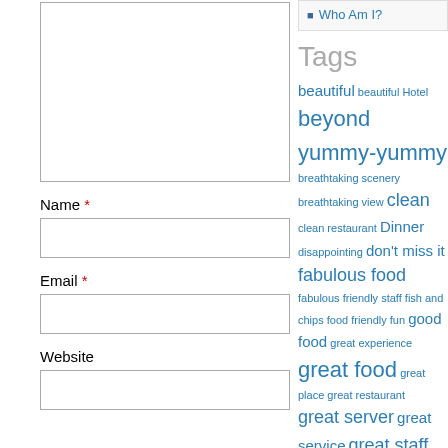Who Am I?
Tags
beautiful beautiful Hotel beyond yummy-yummy breathtaking scenery breathtaking view clean clean restaurant Dinner disappointing don't miss it fabulous food fabulous friendly staff fish and chips food friendly fun good food great experience great food great place great restaurant great server great service great staff great wine loved it OMG too
Name * (input field)
Email * (input field)
Website (input field)
Post Comment (button)